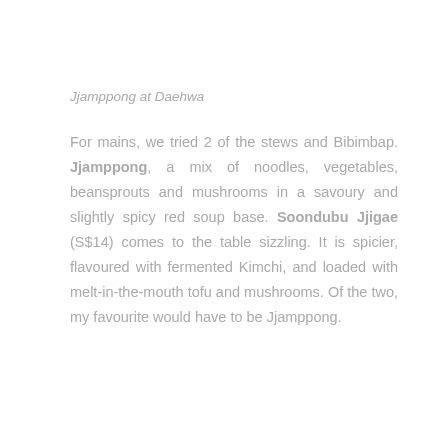Jjamppong at Daehwa
For mains, we tried 2 of the stews and Bibimbap. Jjamppong, a mix of noodles, vegetables, beansprouts and mushrooms in a savoury and slightly spicy red soup base. Soondubu Jjigae (S$14) comes to the table sizzling. It is spicier, flavoured with fermented Kimchi, and loaded with melt-in-the-mouth tofu and mushrooms. Of the two, my favourite would have to be Jjamppong.